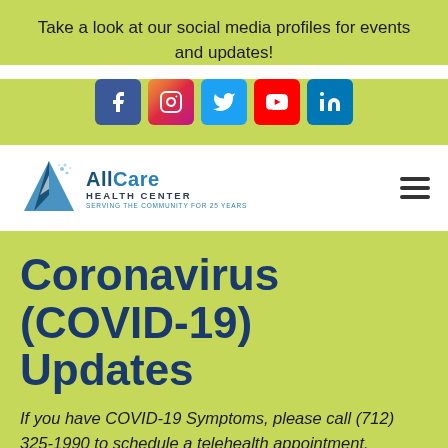Take a look at our social media profiles for events and updates!
[Figure (infographic): Social media icons: Facebook, Instagram, Twitter, YouTube, LinkedIn]
[Figure (logo): AllCare Health Center logo — Serving the Community for 25 Years]
Coronavirus (COVID-19) Updates
If you have COVID-19 Symptoms, please call (712) 325-1990 to schedule a telehealth appointment.